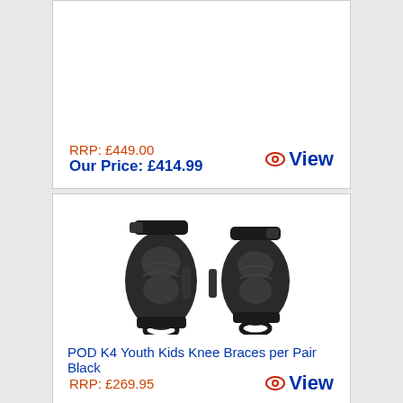RRP: £449.00
Our Price: £414.99
View
[Figure (photo): POD K4 Youth Kids Knee Braces per Pair Black - two black knee brace protectors shown side by side]
POD K4 Youth Kids Knee Braces per Pair Black
RRP: £269.95
View